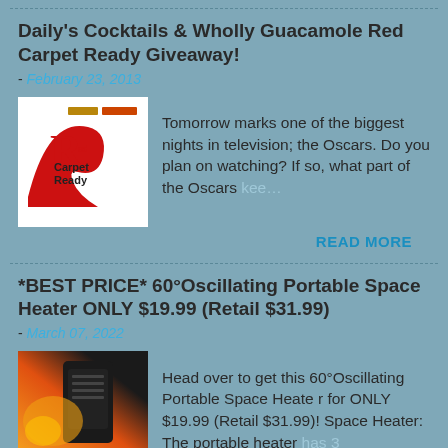Daily's Cocktails & Wholly Guacamole Red Carpet Ready Giveaway!
- February 23, 2013
[Figure (photo): Red Carpet Ready logo with red graphic]
Tomorrow marks one of the biggest nights in television; the Oscars. Do you plan on watching? If so, what part of the Oscars kee…
READ MORE
*BEST PRICE* 60°Oscillating Portable Space Heater ONLY $19.99 (Retail $31.99)
- March 07, 2022
[Figure (photo): Photo of a portable space heater with orange glow]
Head over to get this 60°Oscillating Portable Space Heate r for ONLY $19.99 (Retail $31.99)! Space Heater: The portable heater has 3